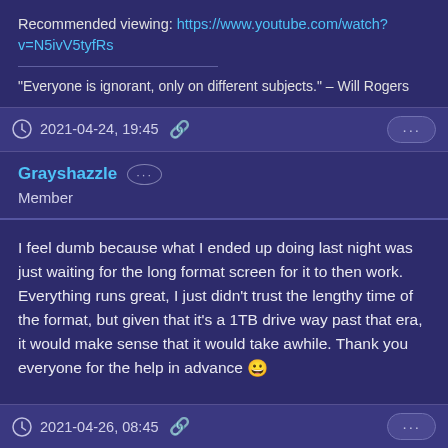Recommended viewing: https://www.youtube.com/watch?v=N5ivV5tyfRs
"Everyone is ignorant, only on different subjects." – Will Rogers
2021-04-24, 19:45
Grayshazzle
Member
I feel dumb because what I ended up doing last night was just waiting for the long format screen for it to then work. Everything runs great, I just didn't trust the lengthy time of the format, but given that it's a 1TB drive way past that era, it would make sense that it would take awhile. Thank you everyone for the help in advance 😀
2021-04-26, 08:45